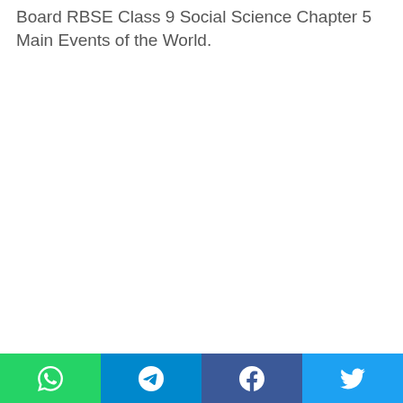Board RBSE Class 9 Social Science Chapter 5 Main Events of the World.
[Figure (other): Social share bar with WhatsApp, Telegram, Facebook, and Twitter buttons at the bottom of the page]